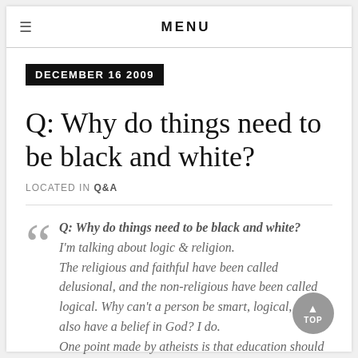MENU
DECEMBER 16 2009
Q: Why do things need to be black and white?
LOCATED IN Q&A
Q: Why do things need to be black and white? I'm talking about logic & religion. The religious and faithful have been called delusional, and the non-religious have been called logical. Why can't a person be smart, logical, and also have a belief in God? I do. One point made by atheists is that education should